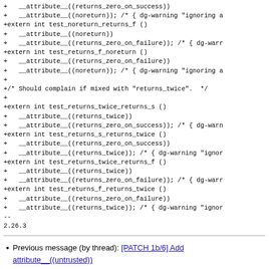+   __attribute__((returns_zero_on_success))
+   __attribute__((noreturn)); /* { dg-warning "ignoring a
+extern int test_noreturn_returns_f ()
+   __attribute__((noreturn))
+   __attribute__((returns_zero_on_failure)); /* { dg-warr
+extern int test_returns_f_noreturn ()
+   __attribute__((returns_zero_on_failure))
+   __attribute__((noreturn)); /* { dg-warning "ignoring a
+
+/* Should complain if mixed with "returns_twice".  */
+
+extern int test_returns_twice_returns_s ()
+   __attribute__((returns_twice))
+   __attribute__((returns_zero_on_success)); /* { dg-warn
+extern int test_returns_s_returns_twice ()
+   __attribute__((returns_zero_on_success))
+   __attribute__((returns_twice)); /* { dg-warning "ignor
+extern int test_returns_twice_returns_f ()
+   __attribute__((returns_twice))
+   __attribute__((returns_zero_on_failure)); /* { dg-warr
+extern int test_returns_f_returns_twice ()
+   __attribute__((returns_zero_on_failure))
+   __attribute__((returns_twice)); /* { dg-warning "ignor
--
2.26.3
Previous message (by thread): [PATCH 1b/6] Add attribute__((untrusted))